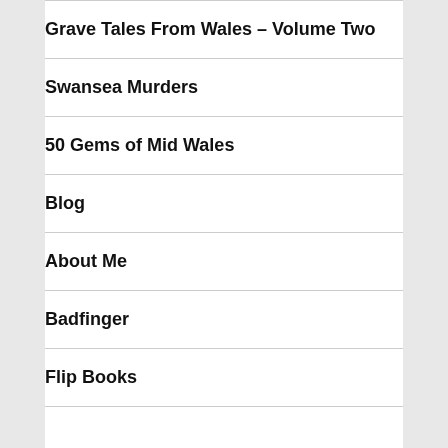Grave Tales From Wales – Volume Two
Swansea Murders
50 Gems of Mid Wales
Blog
About Me
Badfinger
Flip Books